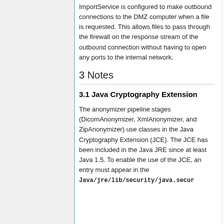ImportService is configured to make outbound connections to the DMZ computer when a file is requested. This allows files to pass through the firewall on the response stream of the outbound connection without having to open any ports to the internal network.
3 Notes
3.1 Java Cryptography Extension
The anonymizer pipeline stages (DicomAnonymizer, XmlAnonymizer, and ZipAnonymizer) use classes in the Java Cryptography Extension (JCE). The JCE has been included in the Java JRE since at least Java 1.5. To enable the use of the JCE, an entry must appear in the Java/jre/lib/security/java.secur